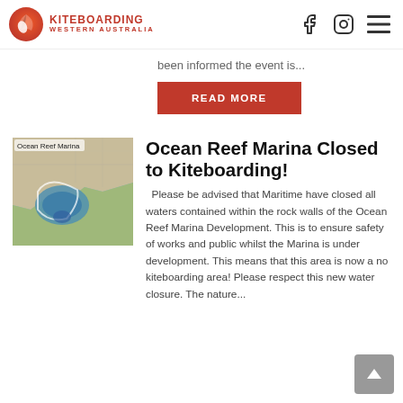[Figure (logo): Kiteboarding Western Australia logo with red kite icon and red text]
been informed the event is...
READ MORE
[Figure (map): Aerial map image of Ocean Reef Marina with label 'Ocean Reef Marina']
Ocean Reef Marina Closed to Kiteboarding!
Please be advised that Maritime have closed all waters contained within the rock walls of the Ocean Reef Marina Development. This is to ensure safety of works and public whilst the Marina is under development. This means that this area is now a no kiteboarding area! Please respect this new water closure. The nature...